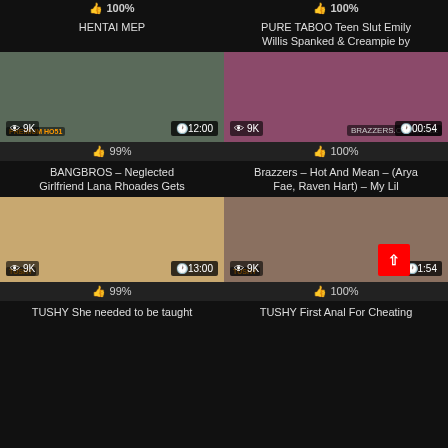[Figure (screenshot): Video thumbnail grid from adult video site showing 4 partial/full video cards with thumbnails, view counts, durations, ratings, and titles]
100%
100%
HENTAI MEP
PURE TABOO Teen Slut Emily Willis Spanked & Creampie by
9K  12:00  99%
BANGBROS – Neglected Girlfriend Lana Rhoades Gets
9K  00:54  100%
Brazzers – Hot And Mean – (Arya Fae, Raven Hart) – My Lil
9K  13:00  99%
TUSHY She needed to be taught
9K  1:54  100%
TUSHY First Anal For Cheating